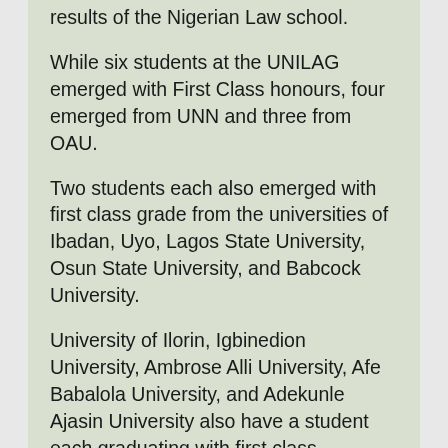results of the Nigerian Law school.
While six students at the UNILAG emerged with First Class honours, four emerged from UNN and three from OAU.
Two students each also emerged with first class grade from the universities of Ibadan, Uyo, Lagos State University, Osun State University, and Babcock University.
University of Ilorin, Igbinedion University, Ambrose Alli University, Afe Babalola University, and Adekunle Ajasin University also have a student each graduating with first class.
Out of the 515 foreign students that participated in the examination, none graduated with a first class, 134 failed and 275 passed.
The analysis showed that 73 of the foreign students